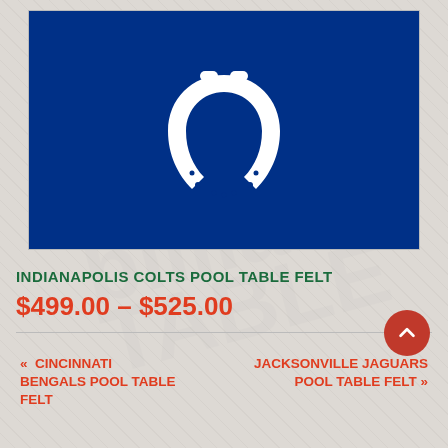[Figure (logo): Indianapolis Colts horseshoe logo in white on a dark navy blue background]
INDIANAPOLIS COLTS POOL TABLE FELT
$499.00 – $525.00
« CINCINNATI BENGALS POOL TABLE FELT
JACKSONVILLE JAGUARS POOL TABLE FELT »